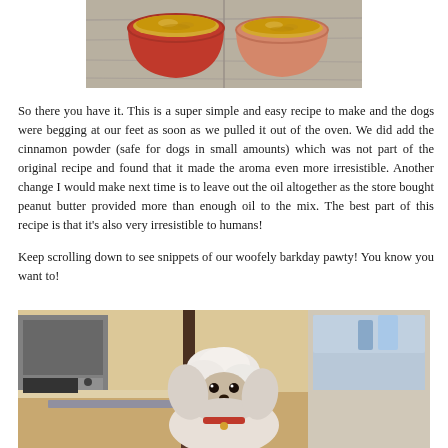[Figure (photo): Two colorful silicone cups (red and peach/pink) filled with a yellow/golden baked dog treat mixture, placed on a light wooden surface.]
So there you have it. This is a super simple and easy recipe to make and the dogs were begging at our feet as soon as we pulled it out of the oven. We did add the cinnamon powder (safe for dogs in small amounts) which was not part of the original recipe and found that it made the aroma even more irresistible. Another change I would make next time is to leave out the oil altogether as the store bought peanut butter provided more than enough oil to the mix. The best part of this recipe is that it's also very irresistible to humans!
Keep scrolling down to see snippets of our woofely barkday pawty! You know you want to!
[Figure (photo): A small white fluffy dog (Shih Tzu) looking downward over a counter or table edge in a kitchen setting, with appliances and kitchen items visible in the background.]